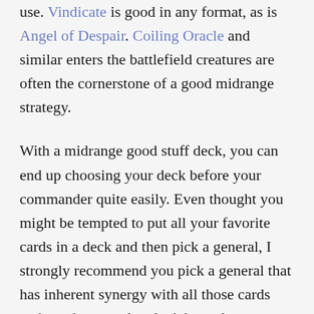use. Vindicate is good in any format, as is Angel of Despair. Coiling Oracle and similar enters the battlefield creatures are often the cornerstone of a good midrange strategy.
With a midrange good stuff deck, you can end up choosing your deck before your commander quite easily. Even thought you might be tempted to put all your favorite cards in a deck and then pick a general, I strongly recommend you pick a general that has inherent synergy with all those cards and cut the ones that don't have the same synergy as the rest of the deck. Playing goodstuff.dec will get there sometimes, but you'll find the deck much more consistent if you build around your commander to some degree and take advantage of the abilities they provide to you.